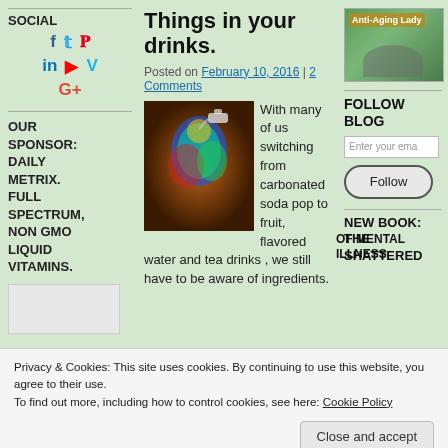SOCIAL
[Figure (infographic): Social media icons: Facebook, Twitter, Pinterest, LinkedIn, YouTube, Vimeo, Google+]
OUR SPONSOR: DAILY METRIX. FULL SPECTRUM, NON GMO LIQUID VITAMINS.
[Figure (photo): Anti-Aging Lady blog thumbnail photo]
Things in your drinks.
Posted on February 10, 2016 | 2 Comments
[Figure (photo): Colorful thermal/infrared style image of a woman drinking from a bottle]
With many of us switching from carbonated soda pop to fruit, flavored water and tea drinks , we still have to be aware of ingredients.
FOLLOW BLOG
Enter your email
Follow
NEW BOOK: THE SHATTERED
Privacy & Cookies: This site uses cookies. By continuing to use this website, you agree to their use.
To find out more, including how to control cookies, see here: Cookie Policy
Close and accept
OF MENTAL ILLNESS